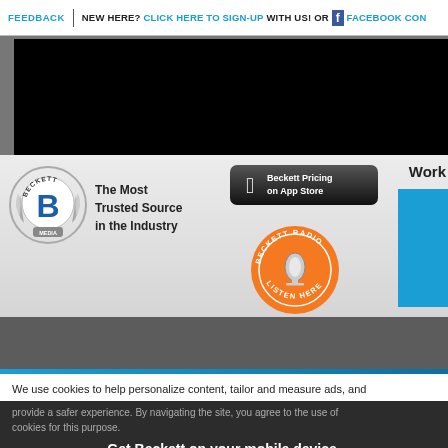FEEDBACK | NEW HERE? CLICK HERE TO SIGN-UP WITH US! OR FACEBOOK CON...
[Figure (screenshot): Black banner area - video or image placeholder]
[Figure (logo): Beckett Media circular logo badge with laurel wreath and large B]
The Most Trusted Source in the Industry
[Figure (screenshot): Beckett Pricing on App Store button (dark rounded rectangle with Apple logo)]
[Figure (logo): Beckett Radio Listen Here circular orange badge with microphone]
Work
We use cookies to help personalize content, tailor and measure ads, and provide a safer experience. By navigating the site, you agree to the use of
Get Beckett on your mobile device.
[Figure (screenshot): Install App button with Apple logo on orange background]
[Figure (other): Close/dismiss circle button with X]